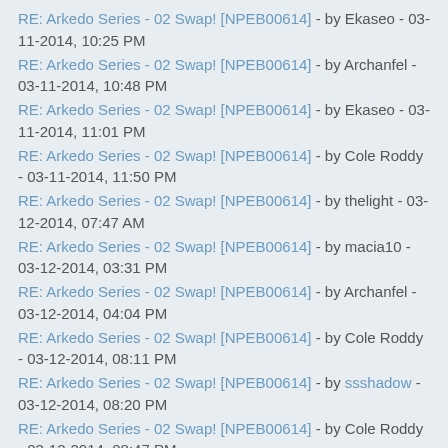RE: Arkedo Series - 02 Swap! [NPEB00614] - by Ekaseo - 03-11-2014, 10:25 PM
RE: Arkedo Series - 02 Swap! [NPEB00614] - by Archanfel - 03-11-2014, 10:48 PM
RE: Arkedo Series - 02 Swap! [NPEB00614] - by Ekaseo - 03-11-2014, 11:01 PM
RE: Arkedo Series - 02 Swap! [NPEB00614] - by Cole Roddy - 03-11-2014, 11:50 PM
RE: Arkedo Series - 02 Swap! [NPEB00614] - by thelight - 03-12-2014, 07:47 AM
RE: Arkedo Series - 02 Swap! [NPEB00614] - by macia10 - 03-12-2014, 03:31 PM
RE: Arkedo Series - 02 Swap! [NPEB00614] - by Archanfel - 03-12-2014, 04:04 PM
RE: Arkedo Series - 02 Swap! [NPEB00614] - by Cole Roddy - 03-12-2014, 08:11 PM
RE: Arkedo Series - 02 Swap! [NPEB00614] - by ssshadow - 03-12-2014, 08:20 PM
RE: Arkedo Series - 02 Swap! [NPEB00614] - by Cole Roddy - 03-12-2014, 08:47 PM
RE: Arkedo Series - 02 Swap! [NPEB00614] - by Archanfel - 03-12-2014, 09:30 PM